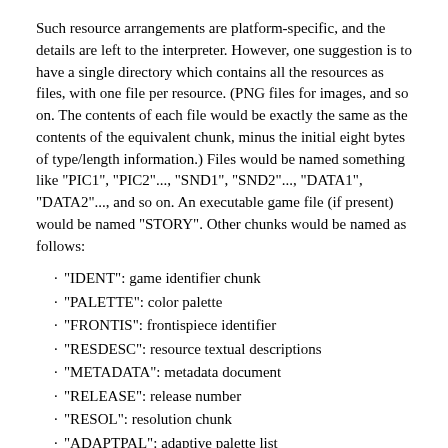Such resource arrangements are platform-specific, and the details are left to the interpreter. However, one suggestion is to have a single directory which contains all the resources as files, with one file per resource. (PNG files for images, and so on. The contents of each file would be exactly the same as the contents of the equivalent chunk, minus the initial eight bytes of type/length information.) Files would be named something like "PIC1", "PIC2"..., "SND1", "SND2"..., "DATA1", "DATA2"..., and so on. An executable game file (if present) would be named "STORY". Other chunks would be named as follows:
"IDENT": game identifier chunk
"PALETTE": color palette
"FRONTIS": frontispiece identifier
"RESDESC": resource textual descriptions
"METADATA": metadata document
"RELEASE": release number
"RESOL": resolution chunk
"ADAPTPAL": adaptive palette list
"LOOPING": looping chunk